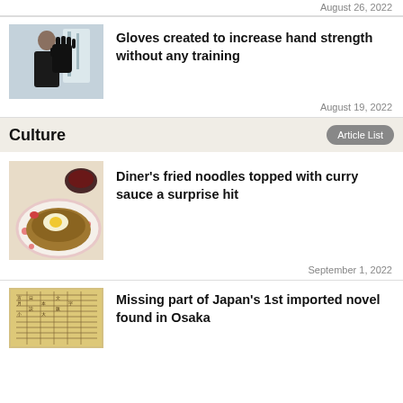August 26, 2022
[Figure (photo): Man in black t-shirt holding up a black glove in a lab setting]
Gloves created to increase hand strength without any training
August 19, 2022
Culture
Article List
[Figure (photo): Plate of fried noodles topped with curry sauce with a fried egg, served with a bowl of soup]
Diner’s fried noodles topped with curry sauce a surprise hit
September 1, 2022
[Figure (photo): Old Japanese manuscript with handwritten characters]
Missing part of Japan’s 1st imported novel found in Osaka